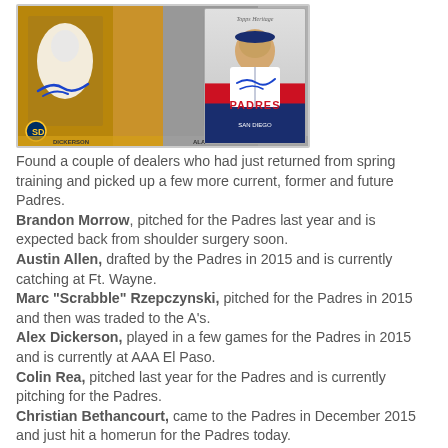[Figure (photo): Three autographed baseball cards of San Diego Padres players — two modern style cards on the left and center, and one retro-style card on the right featuring a player in a Padres jersey with 'PADRES' printed in red at the bottom.]
Found a couple of dealers who had just returned from spring training and picked up a few more current, former and future Padres. Brandon Morrow, pitched for the Padres last year and is expected back from shoulder surgery soon. Austin Allen, drafted by the Padres in 2015 and is currently catching at Ft. Wayne. Marc "Scrabble" Rzepczynski, pitched for the Padres in 2015 and then was traded to the A's. Alex Dickerson, played in a few games for the Padres in 2015 and is currently at AAA El Paso. Colin Rea, pitched last year for the Padres and is currently pitching for the Padres. Christian Bethancourt, came to the Padres in December 2015 and just hit a homerun for the Padres today.